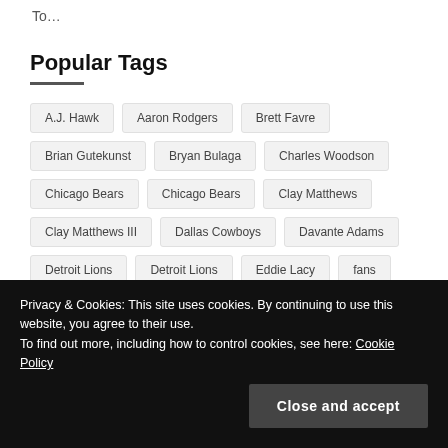To…
Popular Tags
A.J. Hawk
Aaron Rodgers
Brett Favre
Brian Gutekunst
Bryan Bulaga
Charles Woodson
Chicago Bears
Chicago Bears
Clay Matthews
Clay Matthews III
Dallas Cowboys
Davante Adams
Detroit Lions
Detroit Lions
Eddie Lacy
fans
Featured
free agents
game analysis
Green Bay Packers
Green Bay Packers
Privacy & Cookies: This site uses cookies. By continuing to use this website, you agree to their use. To find out more, including how to control cookies, see here: Cookie Policy
Close and accept